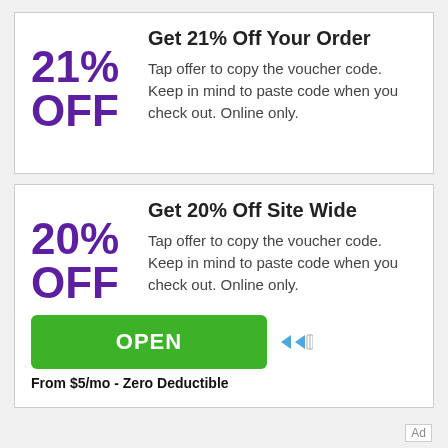21% OFF
Get 21% Off Your Order
Tap offer to copy the voucher code. Keep in mind to paste code when you check out. Online only.
20% OFF
Get 20% Off Site Wide
Tap offer to copy the voucher code. Keep in mind to paste code when you check out. Online only.
OPEN
From $5/mo - Zero Deductible
Ad